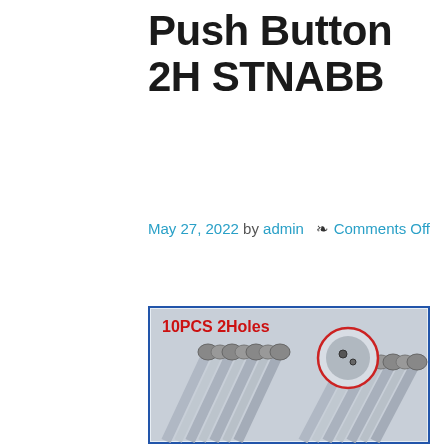Push Button 2H STNABB
May 27, 2022 by admin  ❧ Comments Off
[Figure (photo): 10 dental push-button handpieces arranged in a row, with a close-up circle inset showing the 2-hole connector. Text overlay reads '10PCS 2Holes' in red.]